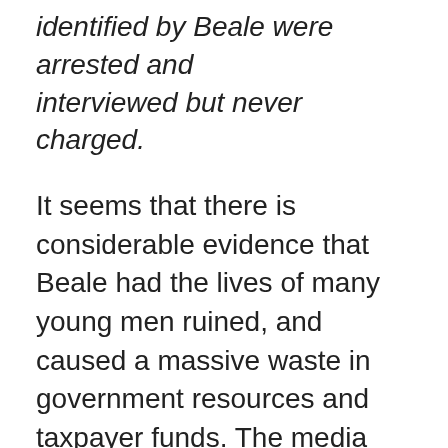identified by Beale were arrested and interviewed but never charged.
It seems that there is considerable evidence that Beale had the lives of many young men ruined, and caused a massive waste in government resources and taxpayer funds. The media coverage about the case may have been sensational, and she may have had a terrible childhood as she says, but that is no reason to do the things she did.
Photo: The Sun